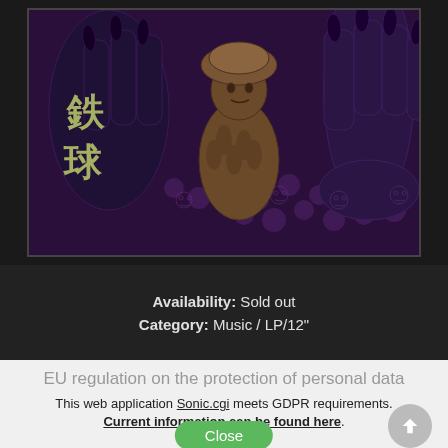[Figure (illustration): Dark fantasy album cover artwork featuring a figure wearing a fur hat surrounded by large purple-black hands with claws, skulls in the background, and Japanese kanji characters on the left side]
Availability: Sold out
Category: Music / LP/12"
EU regulation on the protection of personal data
This web application Sonic.cgi meets GDPR requirements. Current information can be found here.
Close